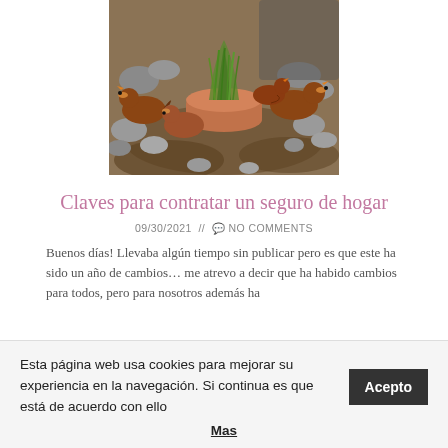[Figure (photo): Photograph of chickens/hens in a garden area with rocks and a plant in a terracotta pot]
Claves para contratar un seguro de hogar
09/30/2021 // 💬 NO COMMENTS
Buenos días! Llevaba algún tiempo sin publicar pero es que este ha sido un año de cambios… me atrevo a decir que ha habido cambios para todos, pero para nosotros además ha
Esta página web usa cookies para mejorar su experiencia en la navegación. Si continua es que está de acuerdo con ello
Acepto
Mas